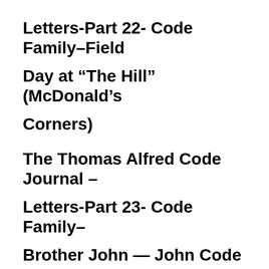Letters-Part 22- Code Family–Field Day at “The Hill” (McDonald’s Corners)
The Thomas Alfred Code Journal – Letters-Part 23- Code Family– Brother John — John Code